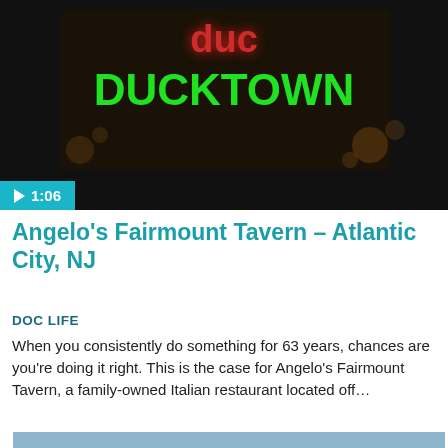[Figure (screenshot): Video thumbnail showing neon signs including 'DUCKTOWN' in green neon text against a dark background, with a teal play button badge showing '1:06']
Angelo's Fairmount Tavern – Atlantic City, NJ
DOC LIFE
When you consistently do something for 63 years, chances are you're doing it right. This is the case for Angelo's Fairmount Tavern, a family-owned Italian restaurant located off…
[Figure (photo): Outdoor photo of a man wearing sunglasses and a collared shirt standing in front of a large modern building with a blue sky in the background, with another person visible to the right]